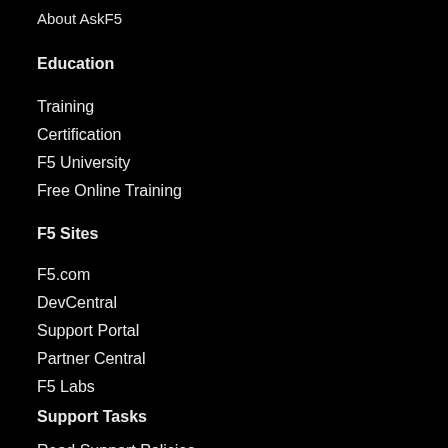About AskF5
Education
Training
Certification
F5 University
Free Online Training
F5 Sites
F5.com
DevCentral
Support Portal
Partner Central
F5 Labs
Support Tasks
Read Support Policies
Create Service Request